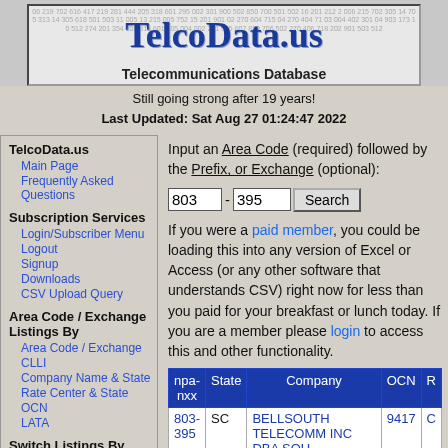[Figure (logo): TelcoData.us logo banner with background numbers and Telecommunications Database subtitle]
Still going strong after 19 years!
Last Updated: Sat Aug 27 01:24:47 2022
TelcoData.us
Main Page
Frequently Asked Questions
Subscription Services
Login/Subscriber Menu
Logout
Signup
Downloads
CSV Upload Query
Area Code / Exchange Listings By
Area Code / Exchange
CLLI
Company Name & State
Rate Center & State
OCN
LATA
Switch Listings By
Input an Area Code (required) followed by the Prefix, or Exchange (optional):
If you were a paid member, you could be loading this into any version of Excel or Access (or any other software that understands CSV) right now for less than you paid for your breakfast or lunch today. If you are a member please login to access this and other functionality.
| npa-nxx | State | Company | OCN | R |
| --- | --- | --- | --- | --- |
| 803-395 | SC | BELLSOUTH TELECOMM INC DBA SOU (Bellsouth) | 9417 | C |